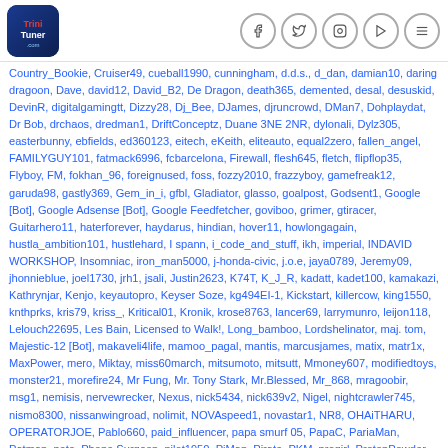TriniTuner logo and social media icons
Country_Bookie, Cruiser49, cueball1990, cunningham, d.d.s., d_dan, damian10, daring dragoon, Dave, david12, David_B2, De Dragon, death365, demented, desal, desuskid, DevinR, digitalgamingtt, Dizzy28, Dj_Bee, DJames, djruncrowd, DMan7, Dohplaydat, Dr Bob, drchaos, dredman1, DriftConceptz, Duane 3NE 2NR, dylonali, Dylz305, easterbunny, ebfields, ed360123, eitech, eKeith, eliteauto, equal2zero, fallen_angel, FAMILYGUY101, fatmack6996, fcbarcelona, Firewall, flesh645, fletch, flipflop35, Flyboy, FM, fokhan_96, foreignused, foss, fozzy2010, frazzyboy, gamefreak12, garuda98, gastly369, Gem_in_i, gfbl, Gladiator, glasso, goalpost, Godsent1, Google [Bot], Google Adsense [Bot], Google Feedfetcher, goviboo, grimer, gtiracer, Guitarhero11, haterforever, haydarus, hindian, hover11, howlongagain, hustla_ambition101, hustlehard, I spann, i_code_and_stuff, ikh, imperial, INDAVID WORKSHOP, Insomniac, iron_man5000, j-honda-civic, j.o.e, jaya0789, Jeremy09, jhonnieblue, joel1730, jrh1, jsali, Justin2623, K74T, K_J_R, kadatt, kadet100, kamakazi, Kathrynjar, Kenjo, keyautopro, Keyser Soze, kg494EI-1, Kickstart, killercow, king1550, knthprks, kris79, kriss_, Kritical01, Kronik, krose8763, lancer69, larrymunro, leijon118, Lelouch22695, Les Bain, Licensed to Walk!, Long_bamboo, Lordshelinator, maj. tom, Majestic-12 [Bot], makaveli4life, mamoo_pagal, mantis, marcusjames, matix, matr1x, MaxPower, mero, Miktay, miss60march, mitsumoto, mitsutt, Mmoney607, modifiedtoys, monster21, morefire24, Mr Fung, Mr. Tony Stark, Mr.Blessed, Mr_868, mragoobir, msg1, nemisis, nervewrecker, Nexus, nick5434, nick639v2, Nigel, nightcrawler745, nismo8300, nissanwingroad, nolimit, NOVAspeed1, novastar1, NR8, OHAiTHARU, OPERATORJOE, Pablo660, paid_influencer, papa smurf 05, PapaC, PariaMan, Patman, pete, Phone Surgeon, pilot1950, PiMan, Pirate, PKM, progirl, ProtonPowder, puqboy, qscpower, R-H-D, rafman, rage666, Rahtid, Ramy, raps,